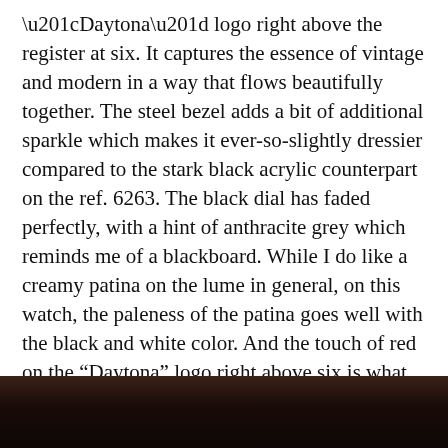“Daytona” logo right above the register at six. It captures the essence of vintage and modern in a way that flows beautifully together. The steel bezel adds a bit of additional sparkle which makes it ever-so-slightly dressier compared to the stark black acrylic counterpart on the ref. 6263. The black dial has faded perfectly, with a hint of anthracite grey which reminds me of a blackboard. While I do like a creamy patina on the lume in general, on this watch, the paleness of the patina goes well with the black and white color. And the touch of red on the “Daytona” logo right above six is what makes this watch sing for me. Red is such a powerful color, and when used against a monochromatic background, even the smallest amount has a great impact. And this AAA high-quality replica Rolex, with the caliber 727, still gives me the satisfaction of winding the watch manually.
[Figure (photo): Partial photograph of a watch, cropped, showing dark brown/black tones at the bottom of the page]